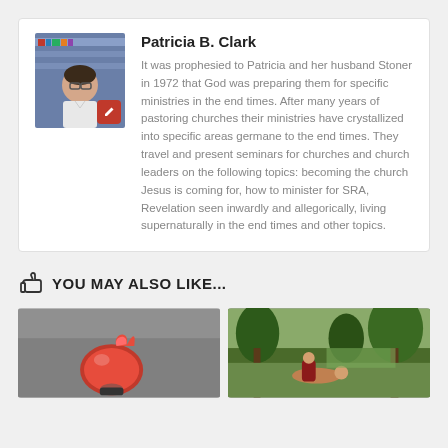Patricia B. Clark — It was prophesied to Patricia and her husband Stoner in 1972 that God was preparing them for specific ministries in the end times. After many years of pastoring churches their ministries have crystallized into specific areas germane to the end times. They travel and present seminars for churches and church leaders on the following topics: becoming the church Jesus is coming for, how to minister for SRA, Revelation seen inwardly and allegorically, living supernaturally in the end times and other topics.
YOU MAY ALSO LIKE...
[Figure (photo): Red sculptural object with flame-like protrusion on a grey background]
[Figure (photo): Classical painting depicting figures in a forest landscape, reminiscent of Good Samaritan or biblical scene]